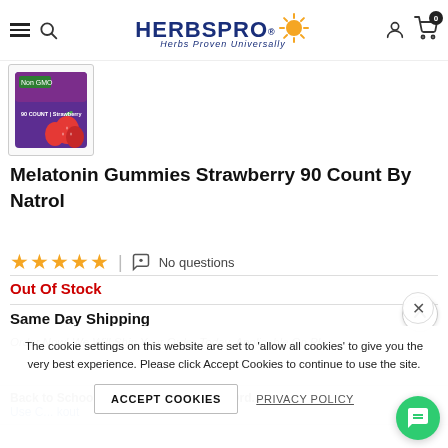HERBSPRO® — Herbs Proven Universally
[Figure (photo): Thumbnail image of Melatonin Gummies Strawberry product with purple packaging and strawberry imagery]
Melatonin Gummies Strawberry 90 Count By Natrol
★★★★★ | 🎧 No questions
Out Of Stock
Same Day Shipping
Order Now! We Will Ship Your Order Today, Applicable On Plac...
The cookie settings on this website are set to 'allow all cookies' to give you the very best experience. Please click Accept Cookies to continue to use the site.
ACCEPT COOKIES    PRIVACY POLICY
Back to School Special : 5% Off on All Ord... Use C... kout